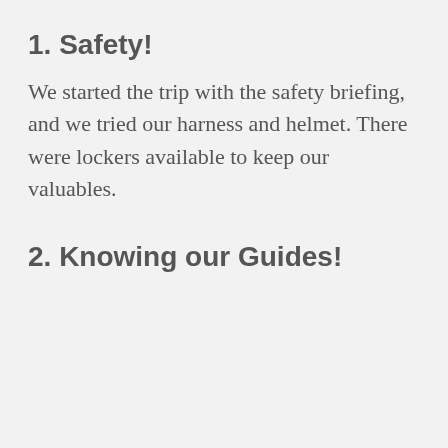1. Safety!
We started the trip with the safety briefing, and we tried our harness and helmet. There were lockers available to keep our valuables.
2. Knowing our Guides!